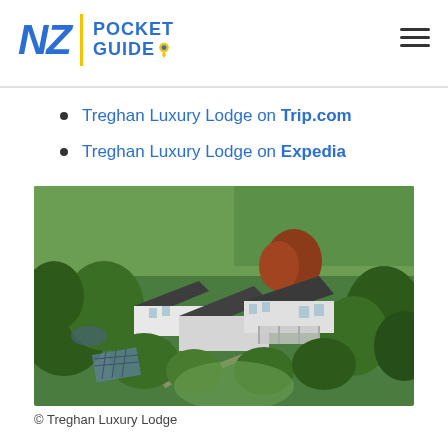NZ | POCKET GUIDE
Treghan Luxury Lodge on Trip.com
Treghan Luxury Lodge on Expedia
[Figure (photo): Aerial drone photograph of Treghan Luxury Lodge surrounded by lush green trees and gardens, showing the large grey-roofed lodge complex with multiple buildings, manicured lawns, and forested surroundings.]
© Treghan Luxury Lodge